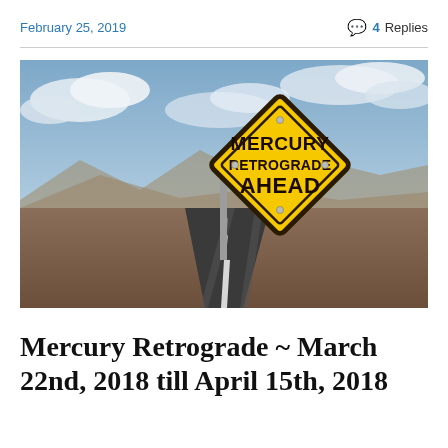February 25, 2019    4 Replies
[Figure (photo): A yellow diamond-shaped road sign reading 'MERCURY RETROGRADE AHEAD' on a metal post, set against a desert highway receding into the distance under a dramatic cloudy sky.]
Mercury Retrograde ~ March 22nd, 2018 till April 15th, 2018